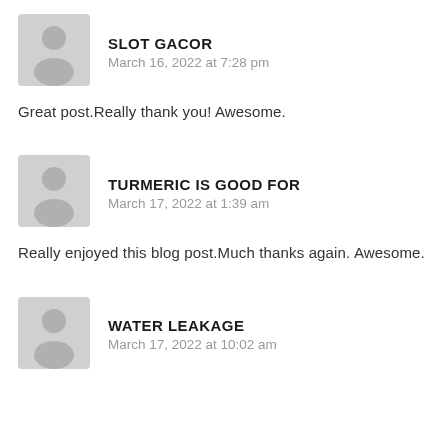[Figure (illustration): Generic user avatar placeholder icon (gray silhouette of a person on light gray background)]
SLOT GACOR
March 16, 2022 at 7:28 pm
Great post.Really thank you! Awesome.
[Figure (illustration): Generic user avatar placeholder icon (gray silhouette of a person on light gray background)]
TURMERIC IS GOOD FOR
March 17, 2022 at 1:39 am
Really enjoyed this blog post.Much thanks again. Awesome.
[Figure (illustration): Generic user avatar placeholder icon (gray silhouette of a person on light gray background)]
WATER LEAKAGE
March 17, 2022 at 10:02 am